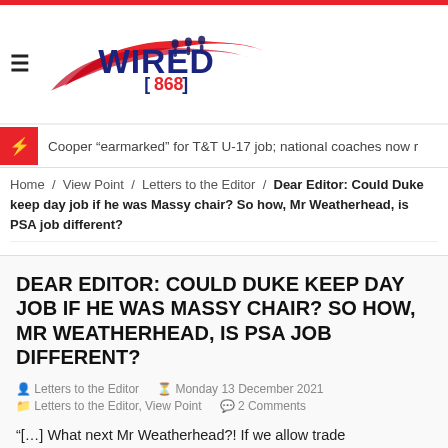[Figure (logo): Wired 868 sports news website logo with stylized athletes and red swoosh]
Cooper “earmarked” for T&T U-17 job; national coaches now r
Home / View Point / Letters to the Editor / Dear Editor: Could Duke keep day job if he was Massy chair? So how, Mr Weatherhead, is PSA job different?
DEAR EDITOR: COULD DUKE KEEP DAY JOB IF HE WAS MASSY CHAIR? SO HOW, MR WEATHERHEAD, IS PSA JOB DIFFERENT?
Letters to the Editor   Monday 13 December 2021
Letters to the Editor, View Point   2 Comments
“[...] What next Mr Weatherhead?! If we allow trade